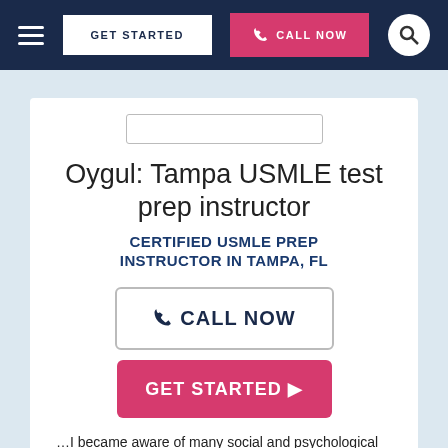GET STARTED | CALL NOW
Oygul: Tampa USMLE test prep instructor
CERTIFIED USMLE PREP INSTRUCTOR IN TAMPA, FL
CALL NOW
GET STARTED ▶
…I became aware of many social and psychological factors and prior life experiences that can affect learning. This